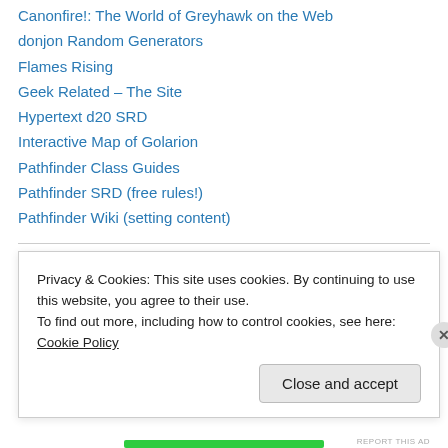Canonfire!: The World of Greyhawk on the Web
donjon Random Generators
Flames Rising
Geek Related – The Site
Hypertext d20 SRD
Interactive Map of Golarion
Pathfinder Class Guides
Pathfinder SRD (free rules!)
Pathfinder Wiki (setting content)
podcasts
Cracked
Privacy & Cookies: This site uses cookies. By continuing to use this website, you agree to their use.
To find out more, including how to control cookies, see here: Cookie Policy
Close and accept